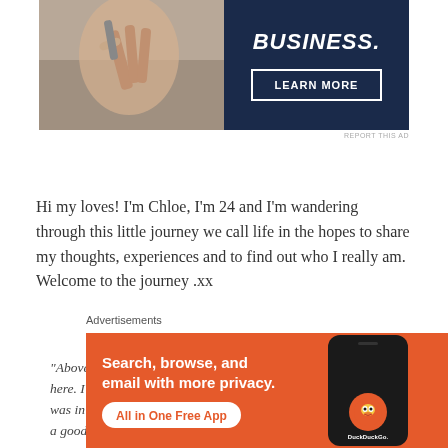[Figure (photo): Advertisement banner with dark navy background. Left side shows a person's hands holding a pen over paper. Right side has bold italic text 'BUSINESS.' and a 'LEARN MORE' button with white border.]
REPORT THIS AD
Hi my loves! I'm Chloe, I'm 24 and I'm wandering through this little journey we call life in the hopes to share my thoughts, experiences and to find out who I really am. Welcome to the journey .xx
"Above all else, it is about leaving a mark that I existed: I was here. I was hungry. I was defeated. I was happy. I was sad. I was in love. I was afraid. I was hopeful. I had an idea and I had a good purpose and that's why I made
Advertisements
[Figure (screenshot): DuckDuckGo advertisement on orange/red background. Text: 'Search, browse, and email with more privacy. All in One Free App' with phone mockup showing DuckDuckGo logo.]